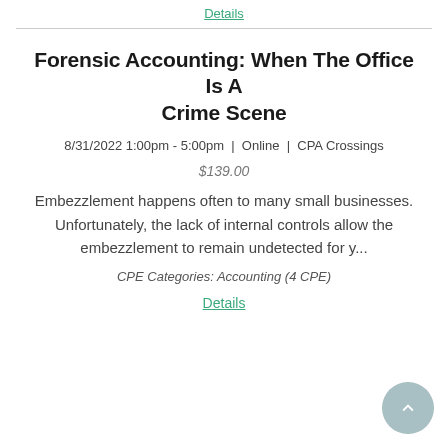Details
Forensic Accounting: When The Office Is A Crime Scene
8/31/2022 1:00pm - 5:00pm  |  Online  |  CPA Crossings
$139.00
Embezzlement happens often to many small businesses. Unfortunately, the lack of internal controls allow the embezzlement to remain undetected for y...
CPE Categories: Accounting (4 CPE)
Details